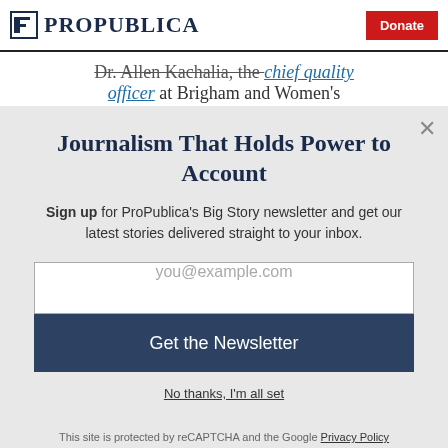ProPublica | Donate
Dr. Allen Kachalia, the chief quality officer at Brigham and Women's
Journalism That Holds Power to Account
Sign up for ProPublica's Big Story newsletter and get our latest stories delivered straight to your inbox.
you@example.com
Get the Newsletter
No thanks, I'm all set
This site is protected by reCAPTCHA and the Google Privacy Policy and Terms of Service apply.